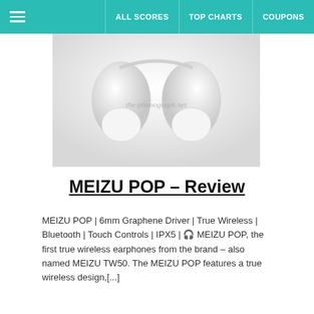ALL SCORES | TOP CHARTS | COUPONS
[Figure (photo): White true wireless earbuds (MEIZU POP) on a white background with watermark 'the-phonograph.net']
MEIZU POP – Review
MEIZU POP | 6mm Graphene Driver | True Wireless | Bluetooth | Touch Controls | IPX5 | 🎧 MEIZU POP, the first true wireless earphones from the brand – also named MEIZU TW50. The MEIZU POP features a true wireless design,[...]
[Figure (photo): Black headphone cable and earphone on a white background]